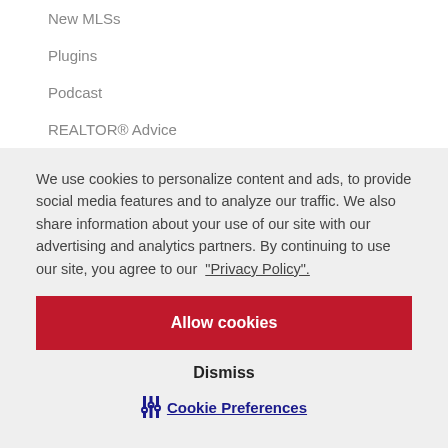New MLSs
Plugins
Podcast
REALTOR® Advice
We use cookies to personalize content and ads, to provide social media features and to analyze our traffic. We also share information about your use of our site with our advertising and analytics partners. By continuing to use our site, you agree to our "Privacy Policy".
Allow cookies
Dismiss
Cookie Preferences
WordPress Tips